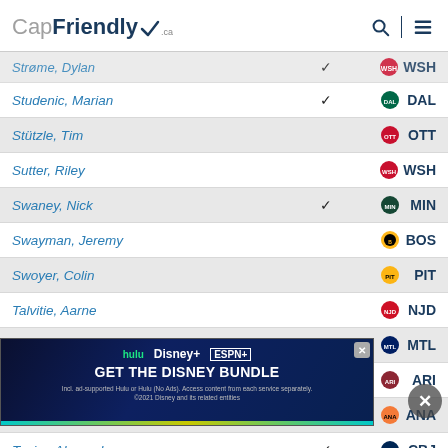CapFriendly
| Player |  | Team |
| --- | --- | --- |
| Strome, Dylan | ✓ | WSH |
| Studenic, Marian | ✓ | DAL |
| Stützle, Tim |  | OTT |
| Sutter, Riley |  | WSH |
| Swaney, Nick | ✓ | MIN |
| Swayman, Jeremy |  | BOS |
| Swoyer, Colin |  | PIT |
| Talvitie, Aarne |  | NJD |
| Teasdale, Joël |  | MTL |
| Tendeck, David |  | ARI |
| Terry, Troy | ✓ | ANA |
| Texier, Alexandre | ✓ | CBJ |
| Thomas, ... |  | LAK |
| Thomas, ... |  | STL |
[Figure (screenshot): Disney Bundle advertisement banner overlay showing Hulu, Disney+, and ESPN+ logos with 'GET THE DISNEY BUNDLE' headline]